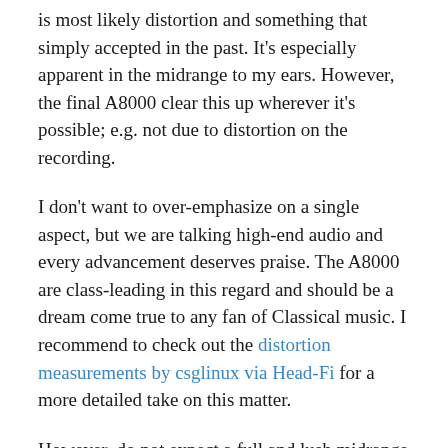is most likely distortion and something that simply accepted in the past. It's especially apparent in the midrange to my ears. However, the final A8000 clear this up wherever it's possible; e.g. not due to distortion on the recording.
I don't want to over-emphasize on a single aspect, but we are talking high-end audio and every advancement deserves praise. The A8000 are class-leading in this regard and should be a dream come true to any fan of Classical music. I recommend to check out the distortion measurements by csglinux via Head-Fi for a more detailed take on this matter.
However, do not expect a full and lush midrange from the A8000. They achieve some level of intimacy through microdetails, like breathing near a microphone or very articulate mouth noises. But you probably won't get the Jazz bar environment feeling from this pair of IEM and we're the same here and the